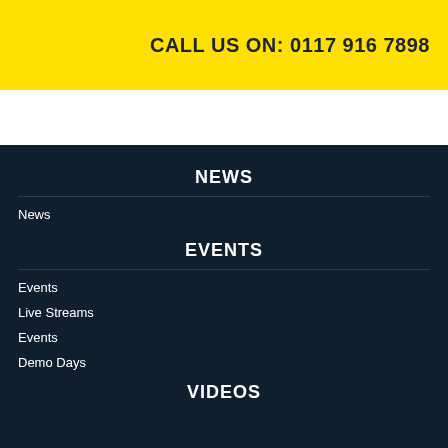CALL US ON: 0117 916 7898
NEWS
News
EVENTS
Events
Live Streams
Events
Demo Days
VIDEOS